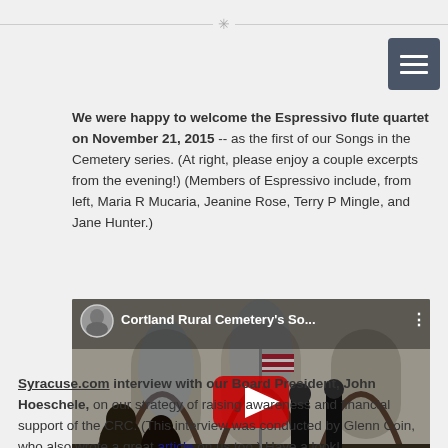We were happy to welcome the Espressivo flute quartet on November 21, 2015 -- as the first of our Songs in the Cemetery series. (At right, please enjoy a couple excerpts from the evening!) (Members of Espressivo include, from left, Maria R Mucaria, Jeanine Rose, Terry P Mingle, and Jane Hunter.)
[Figure (screenshot): YouTube video thumbnail showing Cortland Rural Cemetery's So... with a church interior scene, audience members, performers on a stage, and an American flag. A red YouTube play button is centered on the video. A circular avatar photo of a man is shown in the top-left corner.]
Syracuse.com interview with our Board President, John Hoeschele, on our strategy of raising awareness and financial support of the CRC. (This interview was conducted by Glenn Coin, who also wrote a great article on us too.) Have a look!